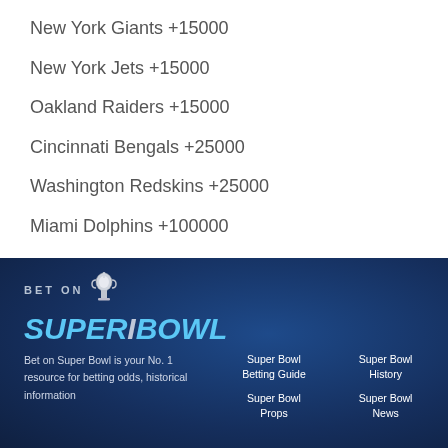New York Giants +15000
New York Jets +15000
Oakland Raiders +15000
Cincinnati Bengals +25000
Washington Redskins +25000
Miami Dolphins +100000
[Figure (logo): Bet on Super Bowl logo with trophy icon and blue stylized text]
Bet on Super Bowl is your No. 1 resource for betting odds, historical information
Super Bowl Betting Guide
Super Bowl Props
Super Bowl History
Super Bowl News